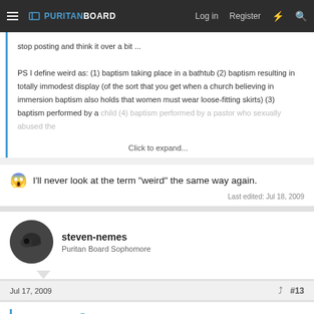PURITAN BOARD — Log in  Register
stop posting and think it over a bit ...

PS I define weird as: (1) baptism taking place in a bathtub (2) baptism resulting in totally immodest display (of the sort that you get when a church believing in immersion baptism also holds that women must wear loose-fitting skirts) (3) baptism performed by a child (4) baptism performed by a pastor who sexually abused the
Click to expand...
😱 I'll never look at the term "weird" the same way again.
Last edited: Jul 18, 2009
steven-nemes
Puritan Board Sophomore
Jul 17, 2009  #13
Caroline said: